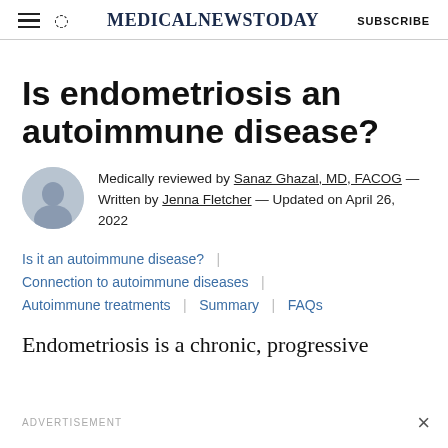MedicalNewsToday  SUBSCRIBE
Is endometriosis an autoimmune disease?
Medically reviewed by Sanaz Ghazal, MD, FACOG — Written by Jenna Fletcher — Updated on April 26, 2022
Is it an autoimmune disease?
Connection to autoimmune diseases
Autoimmune treatments | Summary | FAQs
Endometriosis is a chronic, progressive
ADVERTISEMENT